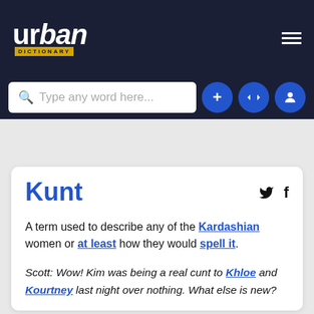urban DICTIONARY
Type any word here...
Kunt
A term used to describe any of the Kardashian women or at least how they would spell it.
Scott: Wow! Kim was being a real cunt to Khloe and Kourtney last night over nothing. What else is new?